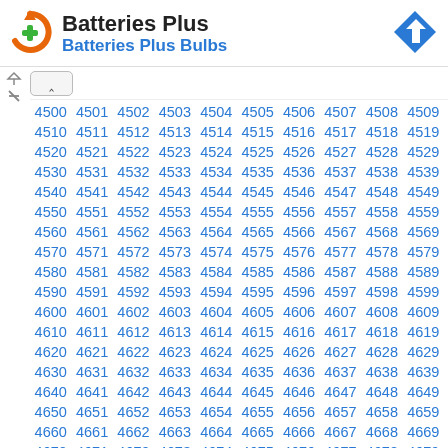[Figure (logo): Batteries Plus logo with orange circular arrow and green plus sign]
Batteries Plus
Batteries Plus Bulbs
[Figure (other): Blue diamond-shaped navigation/direction icon with right-turn arrow]
| 4500 | 4501 | 4502 | 4503 | 4504 | 4505 | 4506 | 4507 | 4508 | 4509 |
| 4510 | 4511 | 4512 | 4513 | 4514 | 4515 | 4516 | 4517 | 4518 | 4519 |
| 4520 | 4521 | 4522 | 4523 | 4524 | 4525 | 4526 | 4527 | 4528 | 4529 |
| 4530 | 4531 | 4532 | 4533 | 4534 | 4535 | 4536 | 4537 | 4538 | 4539 |
| 4540 | 4541 | 4542 | 4543 | 4544 | 4545 | 4546 | 4547 | 4548 | 4549 |
| 4550 | 4551 | 4552 | 4553 | 4554 | 4555 | 4556 | 4557 | 4558 | 4559 |
| 4560 | 4561 | 4562 | 4563 | 4564 | 4565 | 4566 | 4567 | 4568 | 4569 |
| 4570 | 4571 | 4572 | 4573 | 4574 | 4575 | 4576 | 4577 | 4578 | 4579 |
| 4580 | 4581 | 4582 | 4583 | 4584 | 4585 | 4586 | 4587 | 4588 | 4589 |
| 4590 | 4591 | 4592 | 4593 | 4594 | 4595 | 4596 | 4597 | 4598 | 4599 |
| 4600 | 4601 | 4602 | 4603 | 4604 | 4605 | 4606 | 4607 | 4608 | 4609 |
| 4610 | 4611 | 4612 | 4613 | 4614 | 4615 | 4616 | 4617 | 4618 | 4619 |
| 4620 | 4621 | 4622 | 4623 | 4624 | 4625 | 4626 | 4627 | 4628 | 4629 |
| 4630 | 4631 | 4632 | 4633 | 4634 | 4635 | 4636 | 4637 | 4638 | 4639 |
| 4640 | 4641 | 4642 | 4643 | 4644 | 4645 | 4646 | 4647 | 4648 | 4649 |
| 4650 | 4651 | 4652 | 4653 | 4654 | 4655 | 4656 | 4657 | 4658 | 4659 |
| 4660 | 4661 | 4662 | 4663 | 4664 | 4665 | 4666 | 4667 | 4668 | 4669 |
| 4670 | 4671 | 4672 | 4673 | 4674 | 4675 | 4676 | 4677 | 4678 | 4679 |